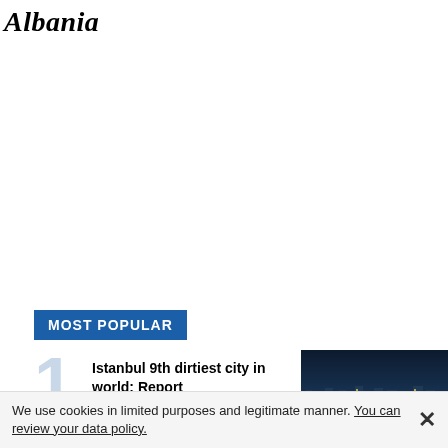Albania
MOST POPULAR
Istanbul 9th dirtiest city in world: Report
[Figure (photo): Nighttime cityscape of Istanbul showing skyline with sea in foreground]
We use cookies in limited purposes and legitimate manner. You can review your data policy.